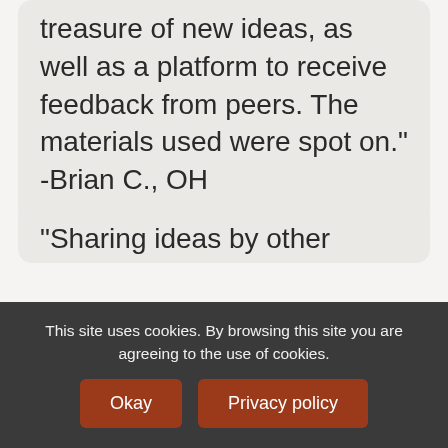treasure of new ideas, as well as a platform to receive feedback from peers. The materials used were spot on." -Brian C., OH
"Sharing ideas by other teachers is a great tool for educators to improve their classrooms. This class allowed for this. I also enjoyed and learned the importance of creating a positive
This site uses cookies. By browsing this site you are agreeing to the use of cookies.